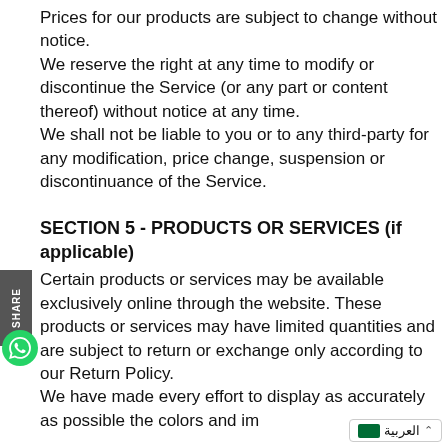Prices for our products are subject to change without notice.
We reserve the right at any time to modify or discontinue the Service (or any part or content thereof) without notice at any time.
We shall not be liable to you or to any third-party for any modification, price change, suspension or discontinuance of the Service.
SECTION 5 - PRODUCTS OR SERVICES (if applicable)
Certain products or services may be available exclusively online through the website. These products or services may have limited quantities and are subject to return or exchange only according to our Return Policy.
We have made every effort to display as accurately as possible the colors and im...